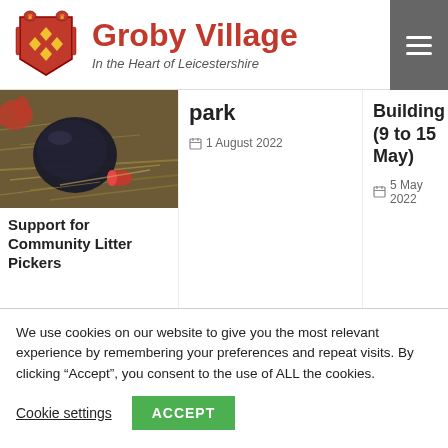[Figure (logo): Groby Village coat of arms / crest logo with red shield, gold lions and diamonds]
Groby Village
In the Heart of Leicestershire
[Figure (photo): Close-up photo of litter on ground including a red capsule and dark rubbish among dried grass/straw]
park
1 August 2022
Building (9 to 15 May)
5 May 2022
Support for Community Litter Pickers
We use cookies on our website to give you the most relevant experience by remembering your preferences and repeat visits. By clicking “Accept”, you consent to the use of ALL the cookies.
Cookie settings
ACCEPT